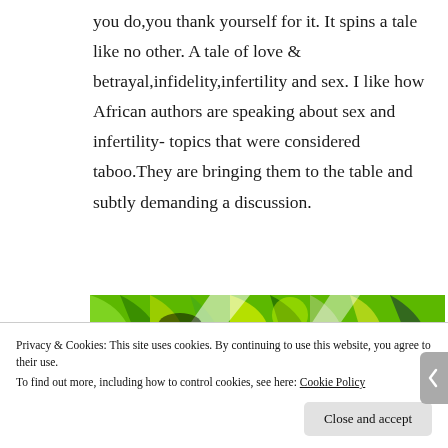you do,you thank yourself for it. It spins a tale like no other. A tale of love & betrayal,infidelity,infertility and sex. I like how African authors are speaking about sex and infertility- topics that were considered taboo.They are bringing them to the table and subtly demanding a discussion.
[Figure (photo): Partial view of a colorful image with green and yellow tropical leaf patterns with black markings, partially obscured by cookie consent banner.]
Privacy & Cookies: This site uses cookies. By continuing to use this website, you agree to their use.
To find out more, including how to control cookies, see here: Cookie Policy